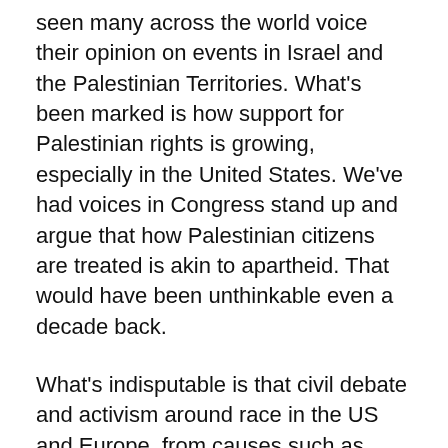seen many across the world voice their opinion on events in Israel and the Palestinian Territories. What's been marked is how support for Palestinian rights is growing, especially in the United States. We've had voices in Congress stand up and argue that how Palestinian citizens are treated is akin to apartheid. That would have been unthinkable even a decade back.
What's indisputable is that civil debate and activism around race in the US and Europe, from causes such as Black Lives Matter (BLM) to colonial historical legacies, is pushing many people to rethink how they view conflicts in the Middle East. There's been lots of good writing on this recently, such as this piece in the Washington Post on BLM and the Israeli-Palestinian conflict.
What's also been fascinating to see is how local